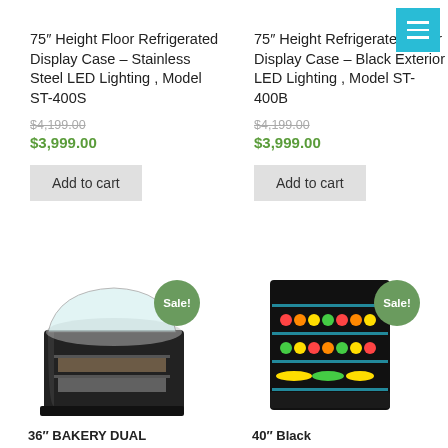75″ Height Floor Refrigerated Display Case – Stainless Steel LED Lighting , Model ST-400S
$4,199.00 (original price)
$3,999.00 (sale price)
Add to cart
75″ Height Refrigerated Floor Display Case – Black Exterior LED Lighting , Model ST-400B
$4,199.00 (original price)
$3,999.00 (sale price)
Add to cart
[Figure (photo): Bakery dual purpose service case product image with Sale! badge]
[Figure (photo): 40 inch black refrigerated open display case with colorful produce on shelves, Sale! badge]
36″ BAKERY DUAL PURPOSE SERVICE &
40″ Black Exterior led